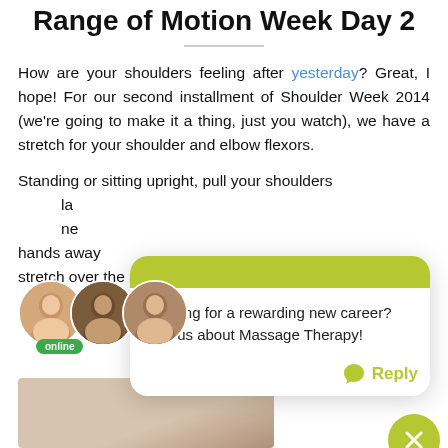Range of Motion Week Day 2
How are your shoulders feeling after yesterday? Great, I hope! For our second installment of Shoulder Week 2014 (we're going to make it a thing, just you watch), we have a stretch for your shoulder and elbow flexors.
Standing or sitting upright, pull your shoulders ... la ... ne ... hands away ... stretch over the anterior shoulder and elbow.
[Figure (other): Chat popup widget with green header, text 'Looking for a rewarding new career? Ask us about Massage Therapy!', Reply button, and close button. Three avatar photos with an 'online' badge.]
[Figure (photo): Bottom portion of a photo showing hands/shoulder demonstration.]